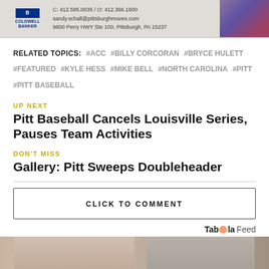[Figure (photo): Coldwell Banker advertisement banner with logo, contact info (C: 412.585.0035 / O: 412.366.1600, sandy.schall@pittsburghmoves.com, 9600 Perry HWY Ste 100, Pittsburgh, PA 15237) and a photo of a woman]
RELATED TOPICS: #ACC #BILLY CORCORAN #BRYCE HULETT #FEATURED #KYLE HESS #MIKE BELL #NORTH CAROLINA #PITT #PITT BASEBALL
UP NEXT
Pitt Baseball Cancels Louisville Series, Pauses Team Activities
DON'T MISS
Gallery: Pitt Sweeps Doubleheader
CLICK TO COMMENT
[Figure (photo): Taboola Feed advertisement with two people, bottom of page]